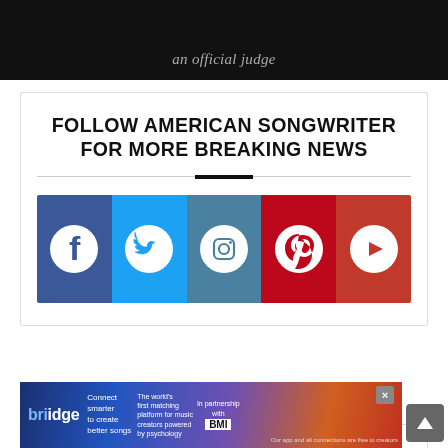an official judge
FOLLOW AMERICAN SONGWRITER FOR MORE BREAKING NEWS
[Figure (infographic): Social media icons bar: Facebook (blue), Twitter (light blue), Instagram (steel blue), Pinterest (red), YouTube (red)]
BY SONGSPACE  1
9 YEARS AGO
[Figure (infographic): Briidge advertisement banner: Connect smarter to create better songs. The world's first matching platform for music creators powered by psychology. In partnership with BMI.]